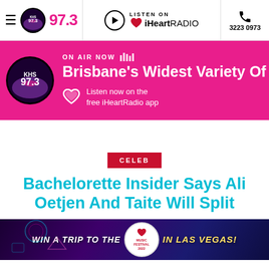KHS 97.3 | LISTEN ON iHeartRADIO | 3223 0973
[Figure (screenshot): Pink radio station banner showing KHS 97.3 logo, ON AIR NOW text with sound bars, Brisbane's Widest Variety Of, and Listen now on the free iHeartRadio app]
CELEB
Bachelorette Insider Says Ali Oetjen And Taite Will Split
[Figure (photo): iHeart Music Festival 2022 promotional banner: WIN A TRIP TO THE iHeart MUSIC FESTIVAL 2022 IN LAS VEGAS!]